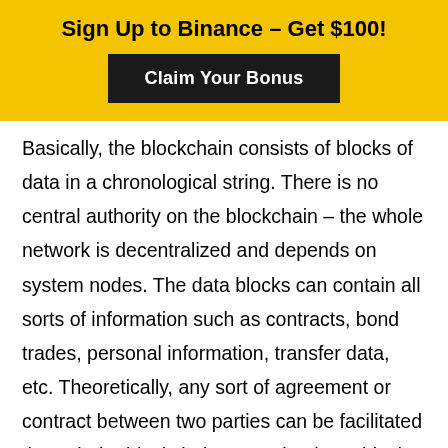Sign Up to Binance – Get $100!
[Figure (other): Black button with text 'Claim Your Bonus' on yellow banner background]
Basically, the blockchain consists of blocks of data in a chronological string. There is no central authority on the blockchain – the whole network is decentralized and depends on system nodes. The data blocks can contain all sorts of information such as contracts, bond trades, personal information, transfer data, etc. Theoretically, any sort of agreement or contract between two parties can be facilitated through the blockchain network. These blocks are used to carry out transactions on the BTC network. The blockchain itself acts as a distributed ledger that anyone can publicly access and see transaction details for each and every transfer that's